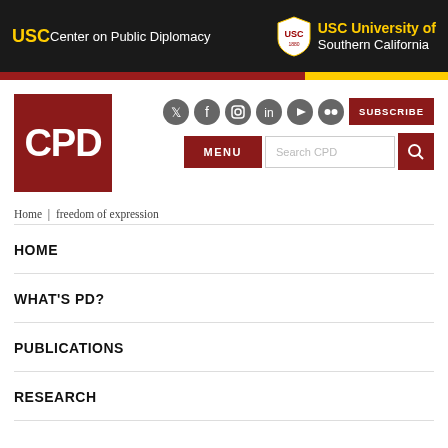USC Center on Public Diplomacy | USC University of Southern California
[Figure (logo): CPD red square logo with white CPD text]
Home | freedom of expression
HOME
WHAT'S PD?
PUBLICATIONS
RESEARCH